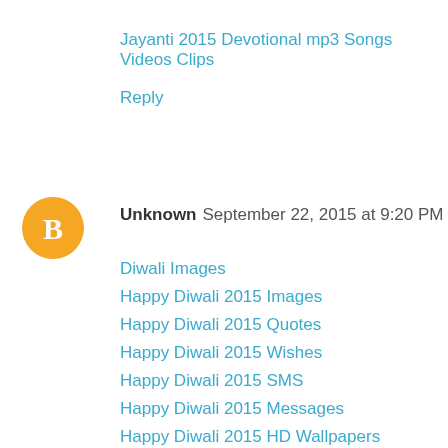Jayanti 2015 Devotional mp3 Songs Videos Clips
Reply
Unknown  September 22, 2015 at 9:20 PM
Diwali Images
Happy Diwali 2015 Images
Happy Diwali 2015 Quotes
Happy Diwali 2015 Wishes
Happy Diwali 2015 SMS
Happy Diwali 2015 Messages
Happy Diwali 2015 HD Wallpapers
Happy Diwali 2015 Greetings
Happy Diwali 2015 Whatsapp Status
Happy Diwali 2015 HD Images
Happy Diwali
Happy Diwali Mp3 Songs List
Reply